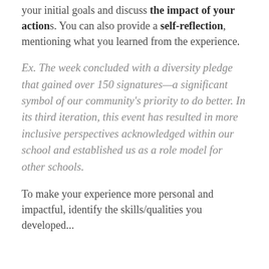your initial goals and discuss the impact of your actions. You can also provide a self-reflection, mentioning what you learned from the experience.
Ex. The week concluded with a diversity pledge that gained over 150 signatures—a significant symbol of our community's priority to do better. In its third iteration, this event has resulted in more inclusive perspectives acknowledged within our school and established us as a role model for other schools.
To make your experience more personal and impactful, identify the skills/qualities you developed...